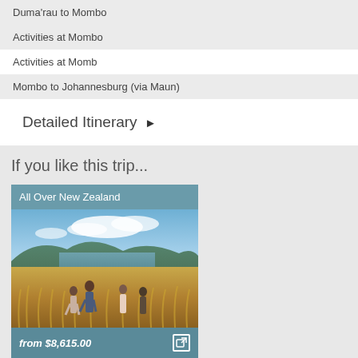Duma'rau to Mombo
Activities at Mombo
Activities at Momb
Mombo to Johannesburg (via Maun)
Detailed Itinerary ▶
If you like this trip...
[Figure (photo): Travel card for 'All Over New Zealand' showing a group of people walking through tall golden grass with a scenic lake and mountains in the background under a blue sky with clouds. Price listed as from $8,615.00]